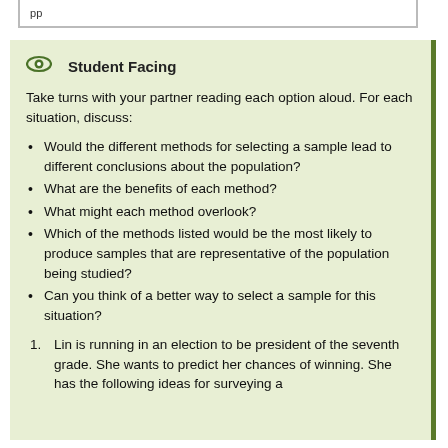pp …
Student Facing
Take turns with your partner reading each option aloud. For each situation, discuss:
Would the different methods for selecting a sample lead to different conclusions about the population?
What are the benefits of each method?
What might each method overlook?
Which of the methods listed would be the most likely to produce samples that are representative of the population being studied?
Can you think of a better way to select a sample for this situation?
Lin is running in an election to be president of the seventh grade. She wants to predict her chances of winning. She has the following ideas for surveying a